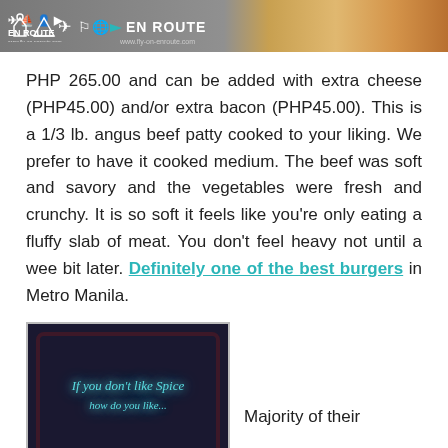[Figure (photo): Header banner image showing EN ROUTE travel blog logo with food photo on the right side]
PHP 265.00 and can be added with extra cheese (PHP45.00) and/or extra bacon (PHP45.00). This is a 1/3 lb. angus beef patty cooked to your liking. We prefer to have it cooked medium. The beef was soft and savory and the vegetables were fresh and crunchy. It is so soft it feels like you're only eating a fluffy slab of meat. You don't feel heavy not until a wee bit later. Definitely one of the best burgers in Metro Manila.
[Figure (photo): Neon sign on dark background reading 'If you don't like spice...' with teal/cyan glowing text]
Majority of their